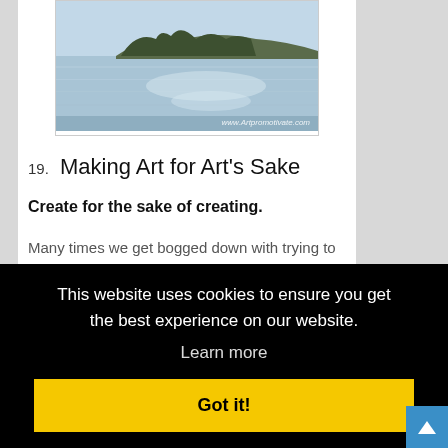[Figure (photo): Photograph of a coastal landscape with calm water reflecting light, rocky cliffs and trees in the background. Watermark reads www.Artpromotivate.com]
19. Making Art for Art's Sake
Create for the sake of creating.
Many times we get bogged down with trying to think of themes to paint, or creating a certain way. Paint and
This website uses cookies to ensure you get the best experience on our website.
Learn more
Got it!